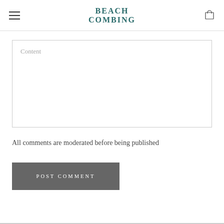BEACH COMBING
Content
All comments are moderated before being published
POST COMMENT